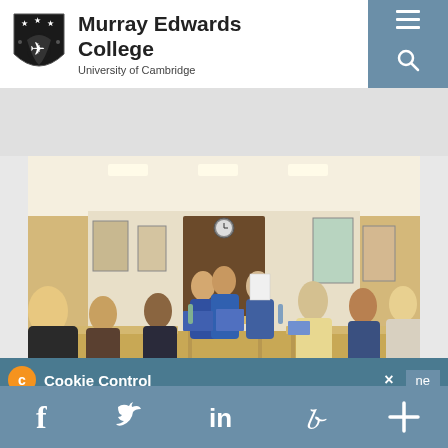[Figure (logo): Murray Edwards College, University of Cambridge logo with heraldic shield and college name]
[Figure (photo): Students seated at long tables in a well-lit room with artwork on walls, working on papers/documents at what appears to be a workshop or study session]
Cookie Control  ×  ne
This site uses cookies to store
[Figure (infographic): Social media icons row: Facebook, Twitter, LinkedIn, Pinterest, plus/more]